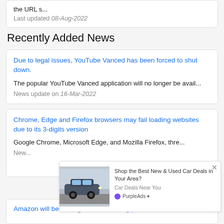the URL s...
Last updated 08-Aug-2022
Recently Added News
Due to legal issues, YouTube Vanced has been forced to shut down.
The popular YouTube Vanced application will no longer be avail...
News update on 16-Mar-2022
Chrome, Edge and Firefox browsers may fail loading websites due to its 3-digits version
Google Chrome, Microsoft Edge, and Mozilla Firefox, thre...
News update on ...
[Figure (infographic): Advertisement overlay showing a car image with text: Shop the Best New & Used Car Deals in Your Area? Car Deals Near You. PurpleAds branding.]
Amazon will be retiring it's web ranking platform